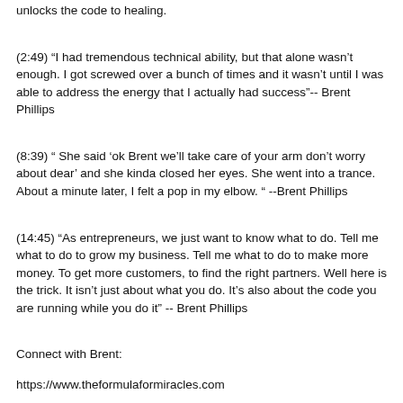unlocks the code to healing.
(2:49) “I had tremendous technical ability, but that alone wasn’t enough. I got screwed over a bunch of times and it wasn’t until I was able to address the energy that I actually had success”-- Brent Phillips
(8:39) “ She said ‘ok Brent we’ll take care of your arm don’t worry about dear’ and she kinda closed her eyes. She went into a trance. About a minute later, I felt a pop in my elbow. “ --Brent Phillips
(14:45) “As entrepreneurs, we just want to know what to do. Tell me what to do to grow my business. Tell me what to do to make more money. To get more customers, to find the right partners. Well here is the trick. It isn’t just about what you do. It’s also about the code you are running while you do it” -- Brent Phillips
Connect with Brent:
https://www.theformulaformiracles.com
http://awakeningdynamics.com